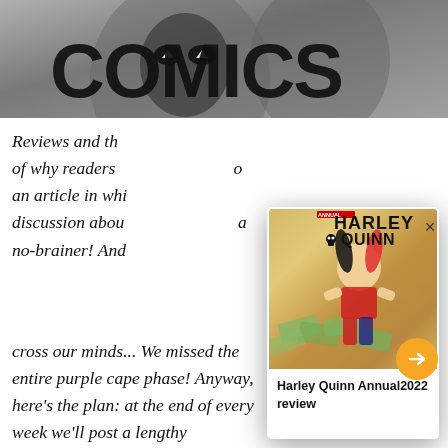[Figure (illustration): Website header banner showing large bold 'COMICS' text with a masked character illustration in the background, dark grey/black tones]
Reviews and th... of why readers ... an article in whi... discussion abou... a no-brainer! And...
[Figure (illustration): Popup card showing Harley Quinn Annual 2022 comic book cover with Harley Quinn character sitting on a pile of money, colorful illustration with gold/yellow background. The popup has a close X button, an orange arrow navigation button, and a caption bar reading 'Harley Quinn Annual2022 review']
Harley Quinn Annual2022 review
cross our minds... We missed the entire purple cape phase! Anyway, here's the plan: at the end of every week we'll post a lengthy conversation that illustrates what it's like when all of your favorite reviewers let their hair down